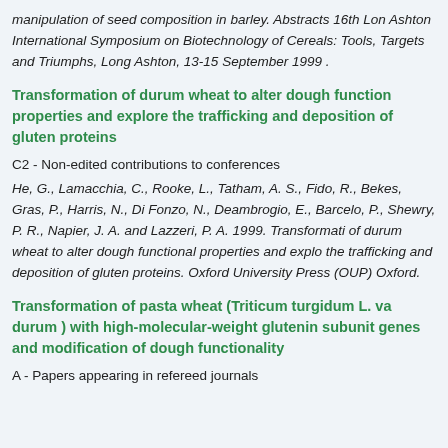manipulation of seed composition in barley. Abstracts 16th Long Ashton International Symposium on Biotechnology of Cereals: Tools, Targets and Triumphs, Long Ashton, 13-15 September 1999 .
Transformation of durum wheat to alter dough functional properties and explore the trafficking and deposition of gluten proteins
C2 - Non-edited contributions to conferences
He, G., Lamacchia, C., Rooke, L., Tatham, A. S., Fido, R., Bekes, F., Gras, P., Harris, N., Di Fonzo, N., Deambrogio, E., Barcelo, P., Shewry, P. R., Napier, J. A. and Lazzeri, P. A. 1999. Transformation of durum wheat to alter dough functional properties and explore the trafficking and deposition of gluten proteins. Oxford University Press (OUP) Oxford.
Transformation of pasta wheat (Triticum turgidum L. var. durum ) with high-molecular-weight glutenin subunit genes and modification of dough functionality
A - Papers appearing in refereed journals